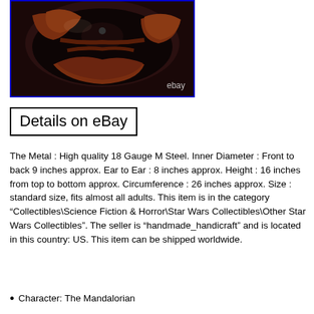[Figure (photo): Close-up photo of the interior of a dark metal Mandalorian helmet with leather straps and padding, displayed on a white background. The eBay watermark is visible in the lower right corner.]
Details on eBay
The Metal : High quality 18 Gauge M Steel. Inner Diameter : Front to back 9 inches approx. Ear to Ear : 8 inches approx. Height : 16 inches from top to bottom approx. Circumference : 26 inches approx. Size : standard size, fits almost all adults. This item is in the category “Collectibles\Science Fiction & Horror\Star Wars Collectibles\Other Star Wars Collectibles”. The seller is “handmade_handicraft” and is located in this country: US. This item can be shipped worldwide.
Character: The Mandalorian